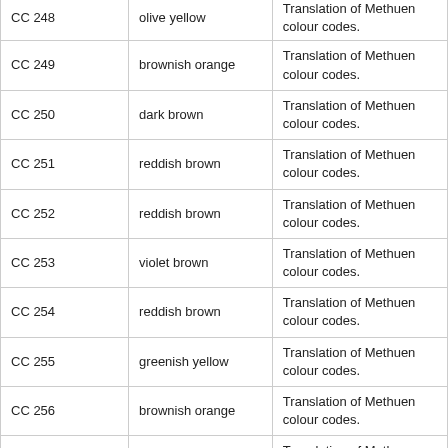| CC 248 | olive yellow | Translation of Methuen colour codes. |
| CC 249 | brownish orange | Translation of Methuen colour codes. |
| CC 250 | dark brown | Translation of Methuen colour codes. |
| CC 251 | reddish brown | Translation of Methuen colour codes. |
| CC 252 | reddish brown | Translation of Methuen colour codes. |
| CC 253 | violet brown | Translation of Methuen colour codes. |
| CC 254 | reddish brown | Translation of Methuen colour codes. |
| CC 255 | greenish yellow | Translation of Methuen colour codes. |
| CC 256 | brownish orange | Translation of Methuen colour codes. |
| CC 257 | brownish orange | Translation of Methuen colour codes. |
| CC 258 | brown | Translation of Methuen colour codes. |
| CC 259 | light brown | Translation of Methuen colour codes. |
| CC 260 | light brown | Translation of Methuen colour codes. |
| CC 261 | light brown | Translation of Methuen colour codes. |
| CC 262 | brown | Translation of Methuen colour codes. |
| CC 263 | light brown | Translation of Methuen colour codes. |
| CC 265 | brownish red | Translation of Methuen colour codes. |